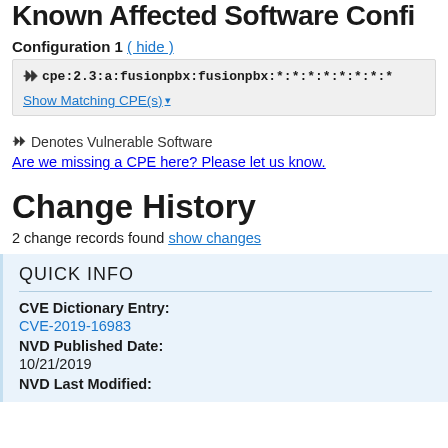Known Affected Software Confi…
Configuration 1 (hide)
cpe:2.3:a:fusionpbx:fusionpbx:*:*:*:*:*:*:*:*
Show Matching CPE(s)▾
Denotes Vulnerable Software
Are we missing a CPE here? Please let us know.
Change History
2 change records found show changes
QUICK INFO
CVE Dictionary Entry:
CVE-2019-16983
NVD Published Date:
10/21/2019
NVD Last Modified: